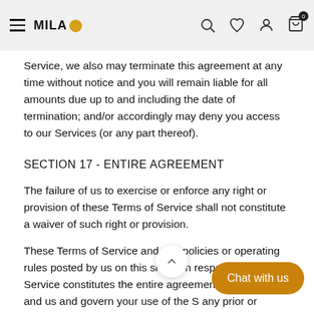MILA [logo] [search] [wishlist] [account] [cart: 0]
Service, we also may terminate this agreement at any time without notice and you will remain liable for all amounts due up to and including the date of termination; and/or accordingly may deny you access to our Services (or any part thereof).
SECTION 17 - ENTIRE AGREEMENT
The failure of us to exercise or enforce any right or provision of these Terms of Service shall not constitute a waiver of such right or provision.
These Terms of Service and any policies or operating rules posted by us on this site or in respect to The Service constitutes the entire agreement and und... you and us and govern your use of the S... any prior or contemporaneous agreements, communications and proposals, whether oral or written, between you and us